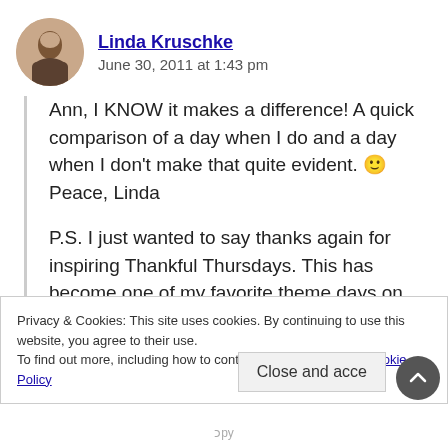Linda Kruschke — June 30, 2011 at 1:43 pm
Ann, I KNOW it makes a difference! A quick comparison of a day when I do and a day when I don't make that quite evident. 🙂 Peace, Linda
P.S. I just wanted to say thanks again for inspiring Thankful Thursdays. This has become one of my favorite theme days on my blog, and I am loving the stretch to write poetry every week and to rely on Him to do it.
Privacy & Cookies: This site uses cookies. By continuing to use this website, you agree to their use.
To find out more, including how to control cookies, see here: Cookie Policy
Close and acce